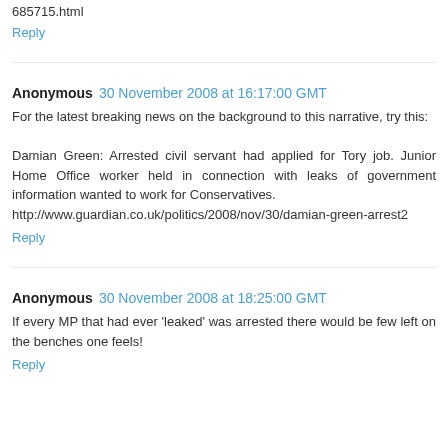685715.html
Reply
Anonymous 30 November 2008 at 16:17:00 GMT
For the latest breaking news on the background to this narrative, try this:

Damian Green: Arrested civil servant had applied for Tory job. Junior Home Office worker held in connection with leaks of government information wanted to work for Conservatives.
http://www.guardian.co.uk/politics/2008/nov/30/damian-green-arrest2
Reply
Anonymous 30 November 2008 at 18:25:00 GMT
If every MP that had ever 'leaked' was arrested there would be few left on the benches one feels!
Reply